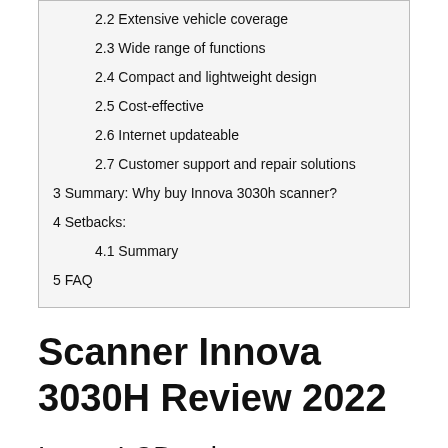2.2 Extensive vehicle coverage
2.3 Wide range of functions
2.4 Compact and lightweight design
2.5 Cost-effective
2.6 Internet updateable
2.7 Customer support and repair solutions
3 Summary: Why buy Innova 3030h scanner?
4 Setbacks:
4.1 Summary
5 FAQ
Scanner Innova 3030H Review 2022
Large LCD color screen
A good scan tool should have a clear display so that users